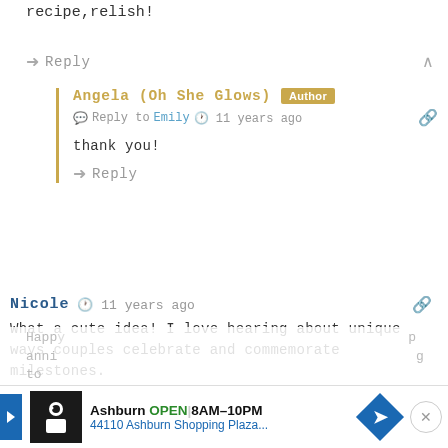recipe,relish!
Reply
Angela (Oh She Glows) Author
Reply to Emily · 11 years ago
thank you!
Reply
Nicole · 11 years ago
What a cute idea! I love hearing about unique ways couples celebrate and commemorate milestones.
Reply
Dana P. · 11 years ago
Happ anni … ng to
[Figure (screenshot): Advertisement banner: Ashburn OPEN 8AM-10PM, 44110 Ashburn Shopping Plaza...]